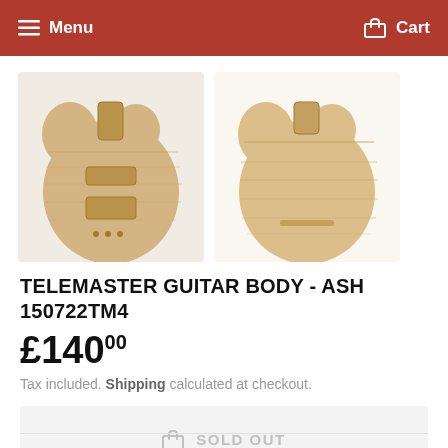Menu  Cart
[Figure (photo): Two views of a Telemaster guitar body made from ash wood — front view on left showing pickup routing and controls, back view on right showing wood grain]
TELEMASTER GUITAR BODY - ASH 150722TM4
£140.00
Tax included. Shipping calculated at checkout.
SOLD OUT